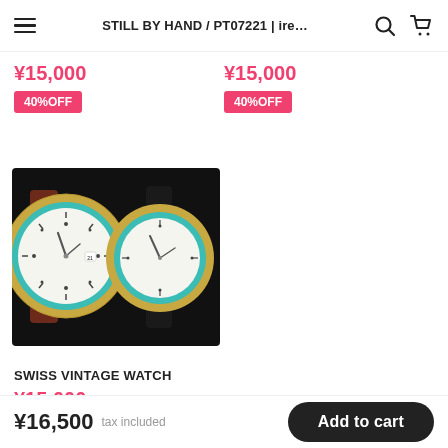STILL BY HAND / PT07221 | ire…
¥15,000
40%OFF
¥15,000
40%OFF
[Figure (photo): Two Swiss vintage watches with gold fluted bezels and turquoise/blue inner rings on white dials, displayed against a dark background]
SWISS VINTAGE WATCH
¥15,000
40%OFF
¥16,500 tax included  Add to cart